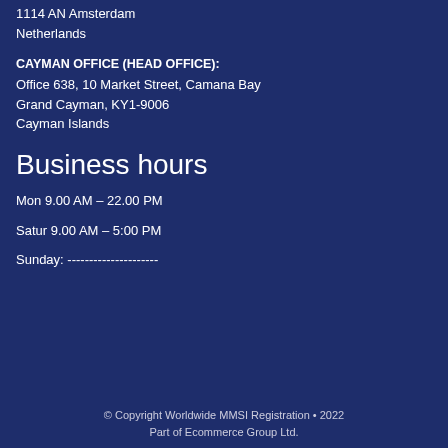1114 AN Amsterdam
Netherlands
CAYMAN OFFICE (HEAD OFFICE):
Office 638, 10 Market Street, Camana Bay
Grand Cayman, KY1-9006
Cayman Islands
Business hours
Mon 9.00 AM – 22.00 PM
Saturday 9.00 AM – 5:00 PM
Sunday: ---------------------
© Copyright Worldwide MMSI Registration • 2022
Part of Ecommerce Group Ltd.